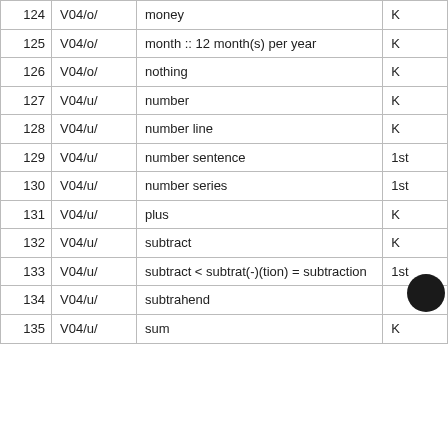| # | Code | Term | Grade |
| --- | --- | --- | --- |
| 124 | V04/o/ | money | K |
| 125 | V04/o/ | month :: 12 month(s) per year | K |
| 126 | V04/o/ | nothing | K |
| 127 | V04/u/ | number | K |
| 128 | V04/u/ | number line | K |
| 129 | V04/u/ | number sentence | 1st |
| 130 | V04/u/ | number series | 1st |
| 131 | V04/u/ | plus | K |
| 132 | V04/u/ | subtract | K |
| 133 | V04/u/ | subtract < subtrat(-)(tion) = subtraction | 1st |
| 134 | V04/u/ | subtrahend | ● |
| 135 | V04/u/ | sum | K |